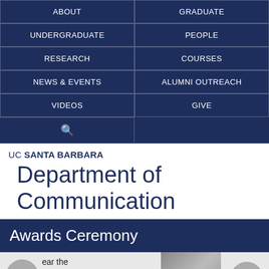[Figure (screenshot): Navigation menu grid with dark navy background and white text links: ABOUT, GRADUATE, UNDERGRADUATE, PEOPLE, RESEARCH, COURSES, NEWS & EVENTS, ALUMNI OUTREACH, VIDEOS, GIVE, and a search icon row]
UC SANTA BARBARA Department of Communication
Awards Ceremony
ear the Department of
[Figure (photo): Partial photo of dark geometric shapes at bottom right of page]